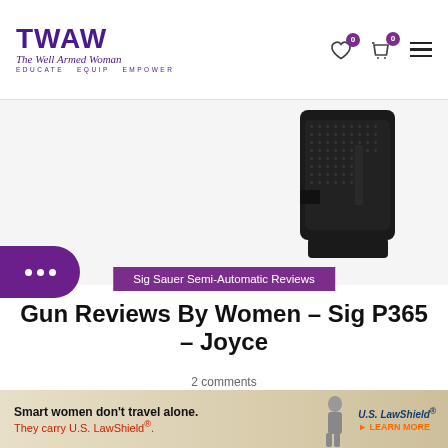TWAW – The Well Armed Woman – EDUCATE EQUIP EMPOWER
[Figure (photo): Close-up photo of a black Sig Sauer P365 pistol grip/magazine on white background]
Sig Sauer Semi-Automatic Reviews
Gun Reviews By Women – Sig P365 – Joyce
2 comments
Sig P365 Gun Review
Right-handed
Read More
[Figure (photo): Advertisement banner: Smart women don't travel alone. They carry U.S. LawShield. – U.S. LawShield LEARN MORE]